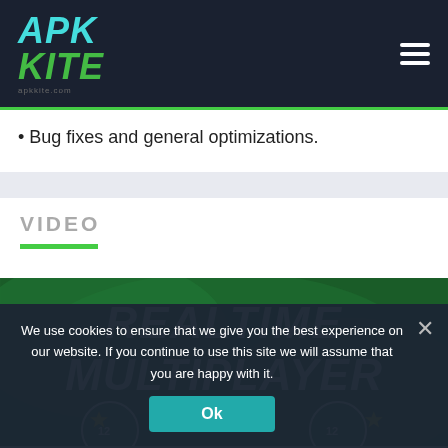APK KITE
Bug fixes and general optimizations.
VIDEO
[Figure (screenshot): Video thumbnail showing 'REALTIME MULTIPLAYER' text on a dark green background with soccer player avatars]
We use cookies to ensure that we give you the best experience on our website. If you continue to use this site we will assume that you are happy with it.